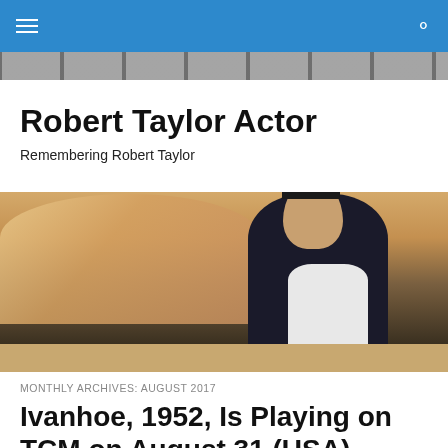Robert Taylor Actor — navigation bar
[Figure (photo): Horizontal filmstrip banner at the top below nav bar, showing repeating thumbnail images]
Robert Taylor Actor
Remembering Robert Taylor
[Figure (photo): Main cinematic photograph showing a romantic scene between two people, likely from a 1950s film, with warm tones. Below it is a filmstrip of portrait thumbnails.]
MONTHLY ARCHIVES: AUGUST 2017
Ivanhoe, 1952, Is Playing on TCM on August 31 (USA)
Ivanhoe, 1952, is playing on Turner Classic Movies at 12